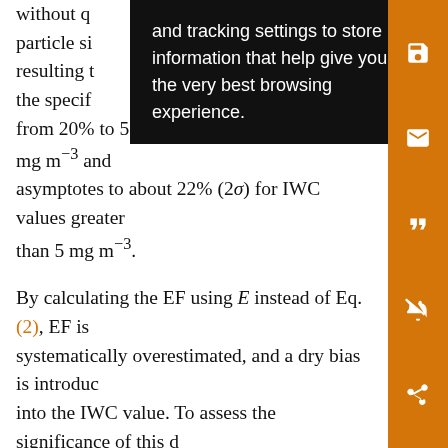without q… and tracking settings to store information that help give you the very best browsing experience. …with particle si… The resulting t… s on the specif… ges from 20% to 50% (2σ) for IWC less than 5 mg m⁻³ and asymptotes to about 22% (2σ) for IWC values greater than 5 mg m⁻³.
By calculating the EF using E instead of Eq. (2), EF is systematically overestimated, and a dry bias is introduced into the IWC value. To assess the significance of this dry bias, we evaluate flight data from MidCiX. In this dataset, the mean and median dry bias are 10% and 7%, respectively. It should be noted that any systematic uncertainties in the CAPS data could affect these values, but they are only intended as a rough estimate of the level of bias that would be introduced by calculating IWC from